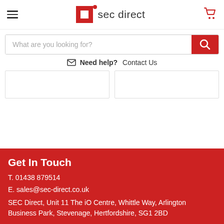[Figure (logo): SEC Direct logo with red square icon and text 'sec direct']
What are you looking for?
Need help? Contact Us
Get In Touch
T. 01438 879514
E. sales@sec-direct.co.uk
SEC Direct, Unit 11 The iO Centre, Whittle Way, Arlington Business Park, Stevenage, Hertfordshire, SG1 2BD